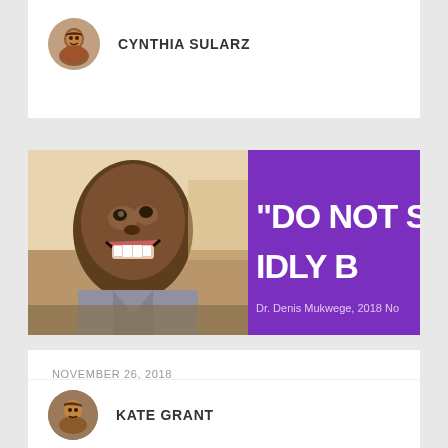CYNTHIA SULARZ
[Figure (photo): Article thumbnail image: left half shows a smiling man (Dr. Denis Mukwege), right half shows a purple background with white bold text reading '"DO NOT S... IDLY B...' and attribution text 'Dr. Denis Mukwege, 2018 No...']
NOVEMBER 26, 2018
Congratulations to Dr. Denis Mukwege, 2018 Nobel Peace Prize Winner!
KATE GRANT